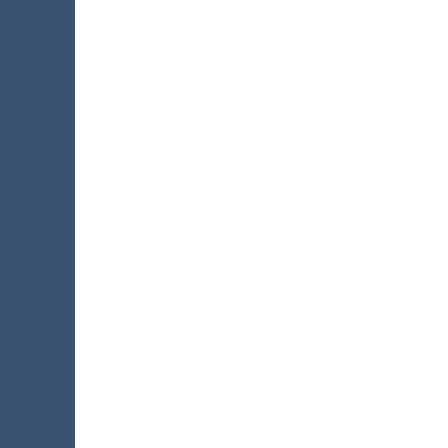flatbed and fill the tanks.
There is lots of welding and san... a lot of treadplate. (man, I LOV... happen to have 8 sheets of 4x8 1... the bed and use it on the backs... and on the headach rack and in...
As for the cab I have a reallly n... out for it.
It should look incredible when d... best thing is I have been buying... so I have most everything I nee... waiting for the RIGHT truck to...
◆
Roof-Cleaning-GA Blog
Roof-Cleaning-Georgia Blo...
GA Roof Cleaning Blog
Roof Cleaning VIDEO
Roof Cleaners-Thomasville...